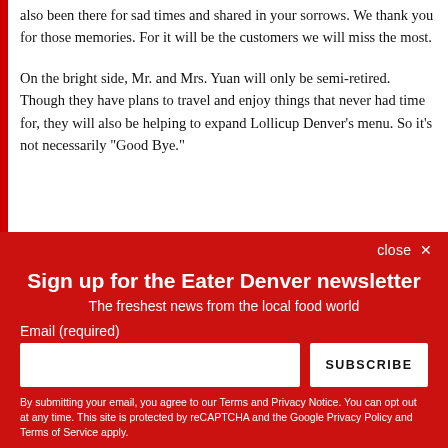also been there for sad times and shared in your sorrows. We thank you for those memories. For it will be the customers we will miss the most.
On the bright side, Mr. and Mrs. Yuan will only be semi-retired. Though they have plans to travel and enjoy things that never had time for, they will also be helping to expand Lollicup Denver's menu. So it's not necessarily "Good Bye."
close ✕
Sign up for the Eater Denver newsletter
The freshest news from the local food world
Email (required)
SUBSCRIBE
By submitting your email, you agree to our Terms and Privacy Notice. You can opt out at any time. This site is protected by reCAPTCHA and the Google Privacy Policy and Terms of Service apply.